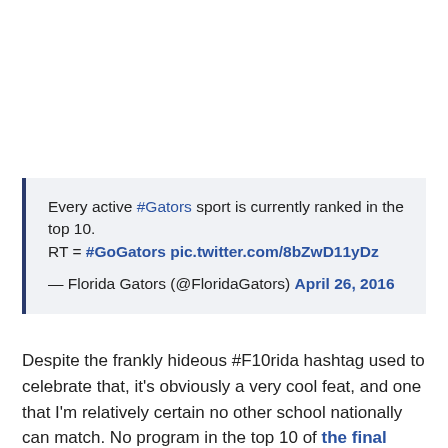Every active #Gators sport is currently ranked in the top 10.
RT = #GoGators pic.twitter.com/8bZwD11yDz

— Florida Gators (@FloridaGators) April 26, 2016
Despite the frankly hideous #F10rida hashtag used to celebrate that, it's obviously a very cool feat, and one that I'm relatively certain no other school nationally can match. No program in the top 10 of the final winter